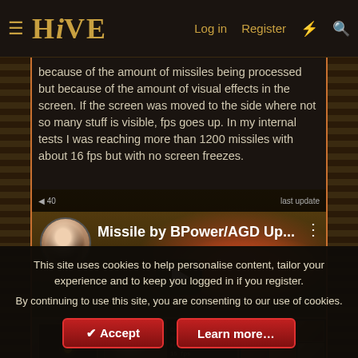HIVE | Log in | Register
because of the amount of missiles being processed but because of the amount of visual effects in the screen. If the screen was moved to the side where not so many stuff is visible, fps goes up. In my internal tests I was reaching more than 1200 missiles with about 16 fps but with no screen freezes.
[Figure (screenshot): YouTube video thumbnail for 'Missile by BPower/AGD Up...' showing a Warcraft III game screenshot with fire effects, avatar of uploader in top-left, video title, three-dot menu icon, and a play button in center. Bottom shows in-game UI bar with character portrait, stats panel, and item icons.]
This site uses cookies to help personalise content, tailor your experience and to keep you logged in if you register.
By continuing to use this site, you are consenting to our use of cookies.